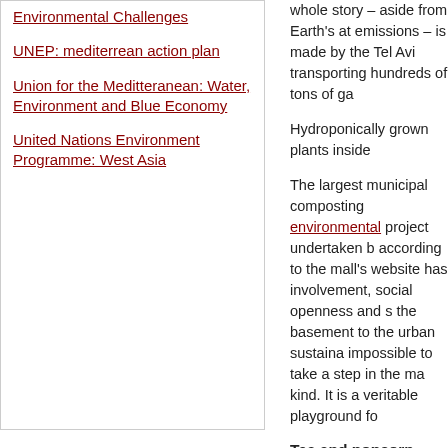Environmental Challenges
UNEP: mediterrean action plan
Union for the Meditteranean: Water, Environment and Blue Economy
United Nations Environment Programme: West Asia
whole story – aside from Earth's at emissions – is made by the Tel Avi transporting hundreds of tons of ga
Hydroponically grown plants inside
The largest municipal composting environmental project undertaken b according to the mall's website has involvement, social openness and s the basement to the urban sustaina impossible to take a step in the ma kind. It is a veritable playground fo
Tea and popcorn from biogas
There's no danger of greenwashing and environmental initiatives for ye local governments around Israel th early as 2014, management began Protection Ministry on greenhouse being carried out by almost no othe decade, it has succeeded in reduci The site also partially offsets emiss hundreds of Tel Aviv schoolchildren